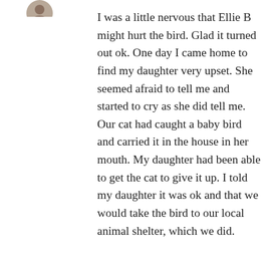[Figure (photo): Small circular avatar image of a person, partially visible at top left]
I was a little nervous that Ellie B might hurt the bird. Glad it turned out ok. One day I came home to find my daughter very upset. She seemed afraid to tell me and started to cry as she did tell me. Our cat had caught a baby bird and carried it in the house in her mouth. My daughter had been able to get the cat to give it up. I told my daughter it was ok and that we would take the bird to our local animal shelter, which we did.
★ Like
↳ Reply
[Figure (photo): Small circular avatar photo of markbialczak wearing sunglasses]
markbialczak on February 14, 2015 at 9:36 pm
I'm glad your dog-bird story turned out OK.